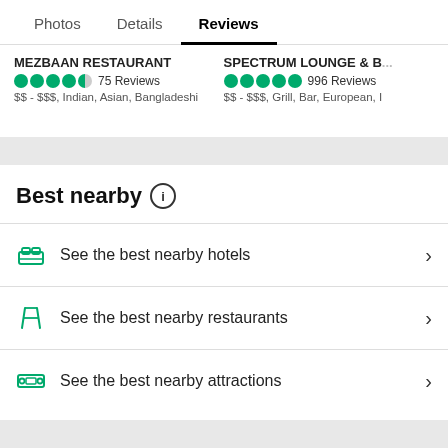Photos  Details  Reviews
MEZBAAN RESTAURANT — 75 Reviews — $$-$$$, Indian, Asian, Bangladeshi
Spectrum Lounge & B... — 996 Reviews — $$-$$$, Grill, Bar, European, I
Best nearby
See the best nearby hotels
See the best nearby restaurants
See the best nearby attractions